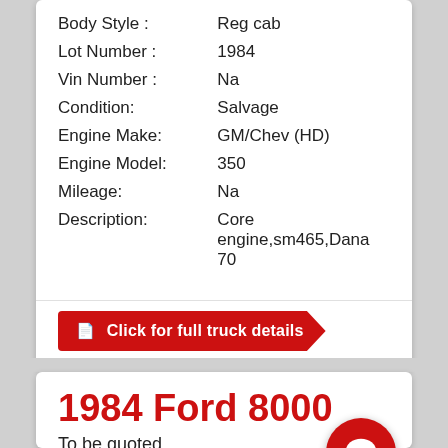| Body Style : | Reg cab |
| Lot Number : | 1984 |
| Vin Number : | Na |
| Condition: | Salvage |
| Engine Make: | GM/Chev (HD) |
| Engine Model: | 350 |
| Mileage: | Na |
| Description: | Core engine,sm465,Dana 70 |
Click for full truck details
1984 Ford 8000
To be quoted
[Figure (photo): Front view of a 1984 Ford 8000 truck cab with antennas, photographed against a blue sky]